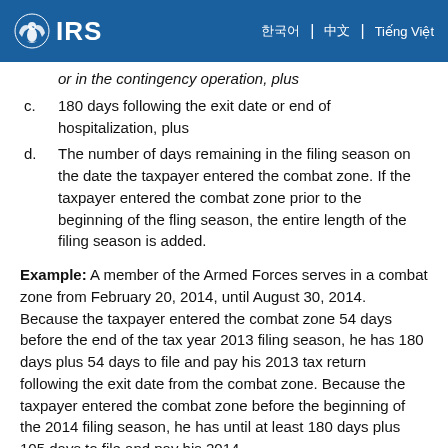IRS
or in the contingency operation, plus
c. 180 days following the exit date or end of hospitalization, plus
d. The number of days remaining in the filing season on the date the taxpayer entered the combat zone. If the taxpayer entered the combat zone prior to the beginning of the fling season, the entire length of the filing season is added.
Example: A member of the Armed Forces serves in a combat zone from February 20, 2014, until August 30, 2014. Because the taxpayer entered the combat zone 54 days before the end of the tax year 2013 filing season, he has 180 days plus 54 days to file and pay his 2013 tax return following the exit date from the combat zone. Because the taxpayer entered the combat zone before the beginning of the 2014 filing season, he has until at least 180 days plus 105 days to file and pay his 2014